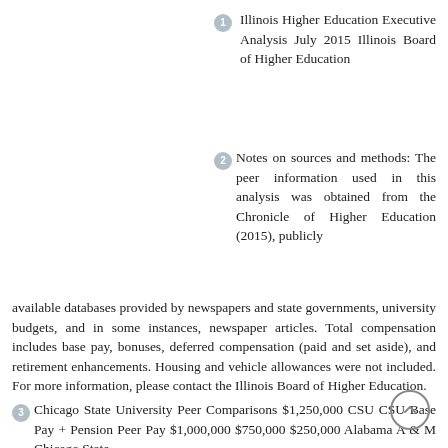1 Illinois Higher Education Executive Analysis July 2015 Illinois Board of Higher Education
2 Notes on sources and methods: The peer information used in this analysis was obtained from the Chronicle of Higher Education (2015), publicly available databases provided by newspapers and state governments, university budgets, and in some instances, newspaper articles. Total compensation includes base pay, bonuses, deferred compensation (paid and set aside), and retirement enhancements. Housing and vehicle allowances were not included. For more information, please contact the Illinois Board of Higher Education.
3 Chicago State University Peer Comparisons $1,250,000 CSU CSU Base Pay + Pension Peer Pay $1,000,000 $750,000 $250,000 Alabama A & M Chicago State